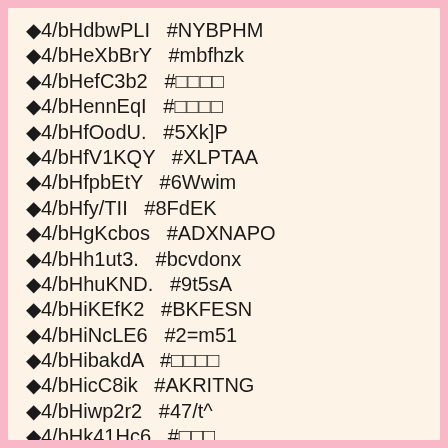◆4/bHdbwPLI  #NYBPHM
◆4/bHeXbBrY  #mbfhzk
◆4/bHefC3b2  #□□□□
◆4/bHennEqI  #□□□□
◆4/bHfOodU.  #5Xk]P
◆4/bHfV1KQY  #XLPTAA
◆4/bHfpbEtY  #6Wwim
◆4/bHfy/TII  #8FdEK
◆4/bHgKcbos  #ADXNAPO
◆4/bHh1ut3.  #bcvdonx
◆4/bHhuKND.  #9t5sA
◆4/bHiKEfK2  #BKFESN
◆4/bHiNcLE6  #2=m51
◆4/bHibakdA  #□□□□
◆4/bHicC8ik  #AKRITNG
◆4/bHiwp2r2  #47/t^
◆4/bHk41Hc6  #□□□
◆4/bHkIoXYc  #6Igc/
◆4/bHkaVA..  #bqotxl